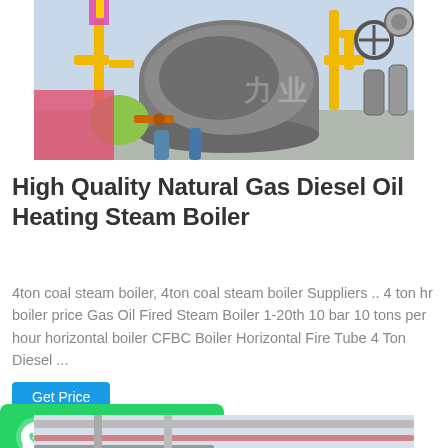[Figure (photo): Industrial gas boiler equipment with yellow pipes, valves, gauges, and machinery in a factory setting]
High Quality Natural Gas Diesel Oil Heating Steam Boiler
4ton coal steam boiler, 4ton coal steam boiler Suppliers .. 4 ton hr boiler price Gas Oil Fired Steam Boiler 1-20th 10 bar 10 tons per hour horizontal boiler CFBC Boiler Horizontal Fire Tube 4 Ton Diesel ...
[Figure (screenshot): WhatsApp contact button (green) and Get Price button (blue) overlaid on page]
[Figure (photo): Partial view of industrial boiler or pipe equipment, bottom of page]